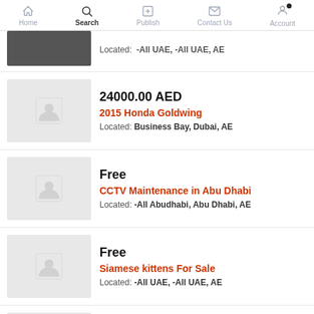Home | Search | Publish | Contact Us | Account
Located: -All UAE, -All UAE, AE
24000.00 AED | 2015 Honda Goldwing | Located: Business Bay, Dubai, AE
Free | CCTV Maintenance in Abu Dhabi | Located: -All Abudhabi, Abu Dhabi, AE
Free | Siamese kittens For Sale | Located: -All UAE, -All UAE, AE
4500.00 AED